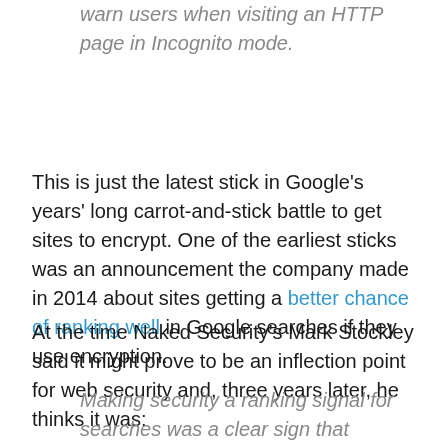warn users when visiting an HTTP page in Incognito mode.
This is just the latest stick in Google's years' long carrot-and-stick battle to get sites to encrypt. One of the earliest sticks was an announcement the company made in 2014 about sites getting a better chance of ranking well in Google searches if they use encryption.
At the time Naked Security's Mark Stockley said it might prove to be an inflection point for web security and, three years later, he thinks it was:
Making security a ranking signal for searches was a clear sign that Google meant business. Before the announcement marketing